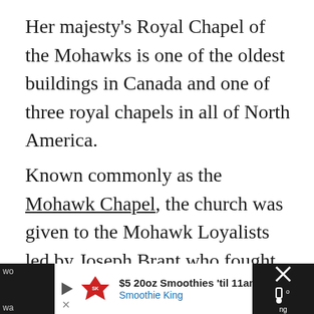Her majesty's Royal Chapel of the Mohawks is one of the oldest buildings in Canada and one of three royal chapels in all of North America.
Known commonly as the Mohawk Chapel, the church was given to the Mohawk Loyalists led by Joseph Brant who fought for the British in the American Revolution.
Inside, you'll find the earliest written record of the Mohawk language. The floors, altar panels and a royal crest carved from just one piece of
[Figure (screenshot): Advertisement banner at the bottom of the page for Smoothie King: '$5 20oz Smoothies til 11am' with Smoothie King logo, navigation arrow icon, and a close/dismiss button. The ad bar is overlaid on partially visible text in a dark background.]